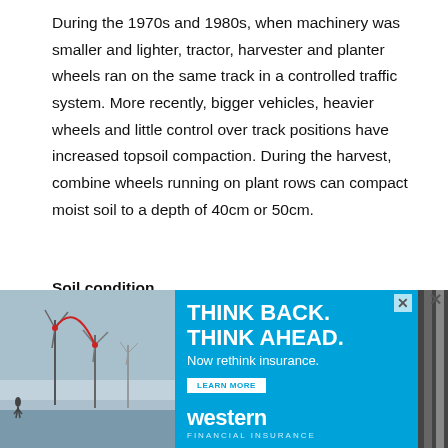During the 1970s and 1980s, when machinery was smaller and lighter, tractor, harvester and planter wheels ran on the same track in a controlled traffic system. More recently, bigger vehicles, heavier wheels and little control over track positions have increased topsoil compaction. During the harvest, combine wheels running on plant rows can compact moist soil to a depth of 40cm or 50cm.
Soil condition
The object of soil management is to create optimal soil conditions for plant roots. Sandy soil, compacted and degraded by regular, controlled wheel traffic, needs
[Figure (photo): Advertisement banner for Western insurance featuring wind turbines image on left, and blue background with text 'THINK BACK. THINK AHEAD. Now rethink insurance.' with a Learn More button and Western insurance logo on right, with diagonal stripe pattern on far right.]